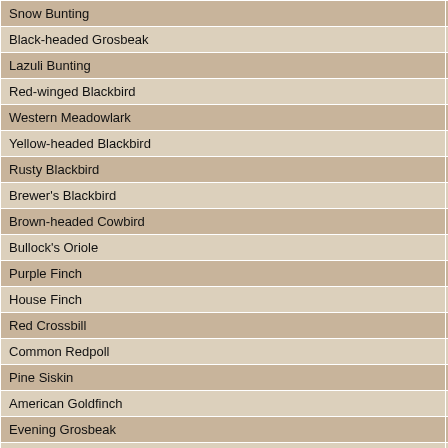| Species | Col1 | Col2 |
| --- | --- | --- |
| Snow Bunting | N | N |
| Black-headed Grosbeak |  |  |
| Lazuli Bunting |  |  |
| Red-winged Blackbird | C | C |
| Western Meadowlark | U | U |
| Yellow-headed Blackbird |  |  |
| Rusty Blackbird | R | R |
| Brewer's Blackbird | C | C |
| Brown-headed Cowbird | U | U |
| Bullock's Oriole |  |  |
| Purple Finch | F | F |
| House Finch | C | C |
| Red Crossbill | F | F |
| Common Redpoll | I | I |
| Pine Siskin | C | C |
| American Goldfinch | U | U |
| Evening Grosbeak | F | F |
| House Sparrow | C | C |